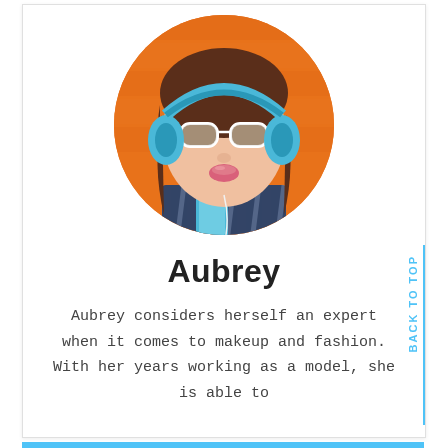[Figure (photo): Circular profile photo of a young woman wearing white sunglasses, blue headphones, and a plaid shirt, holding a blue smartphone, against an orange background.]
Aubrey
Aubrey considers herself an expert when it comes to makeup and fashion. With her years working as a model, she is able to